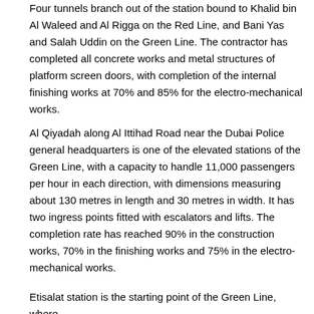Four tunnels branch out of the station bound to Khalid bin Al Waleed and Al Rigga on the Red Line, and Bani Yas and Salah Uddin on the Green Line. The contractor has completed all concrete works and metal structures of platform screen doors, with completion of the internal finishing works at 70% and 85% for the electro-mechanical works.
Al Qiyadah along Al Ittihad Road near the Dubai Police general headquarters is one of the elevated stations of the Green Line, with a capacity to handle 11,000 passengers per hour in each direction, with dimensions measuring about 130 metres in length and 30 metres in width. It has two ingress points fitted with escalators and lifts. The completion rate has reached 90% in the construction works, 70% in the finishing works and 75% in the electro-mechanical works.
Etisalat station is the starting point of the Green Line, where